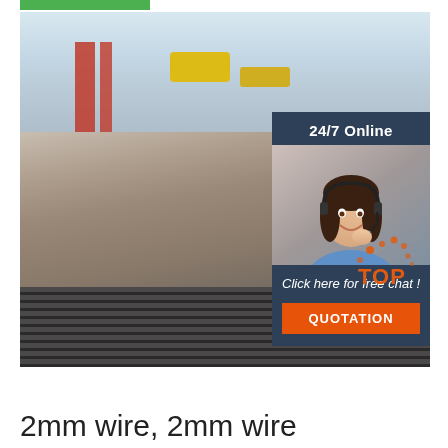[Figure (photo): Steel plates/sheets stacked in a warehouse or industrial facility, with scaffolding and yellow pipes visible in the background. Overlaid with a 24/7 Online chat widget showing a customer service representative and a QUOTATION button. A TOP logo appears in the lower right of the image.]
2mm wire, 2mm wire